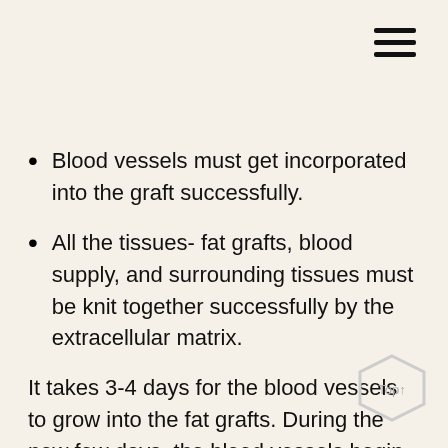Blood vessels must get incorporated into the graft successfully.
All the tissues- fat grafts, blood supply, and surrounding tissues must be knit together successfully by the extracellular matrix.
It takes 3-4 days for the blood vessels to grow into the fat grafts. During the new few days, the blood vessels begin to strengthen. The extracellular matrix surrounding the fat graft takes